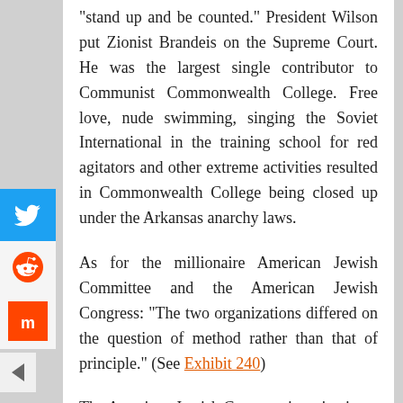“stand up and be counted.” President Wilson put Zionist Brandeis on the Supreme Court. He was the largest single contributor to Communist Commonwealth College. Free love, nude swimming, singing the Soviet International in the training school for red agitators and other extreme activities resulted in Commonwealth College being closed up under the Arkansas anarchy laws.

As for the millionaire American Jewish Committee and the American Jewish Congress: “The two organizations differed on the question of method rather than that of principle.” (See Exhibit 240)

The American Jewish Congress is active in